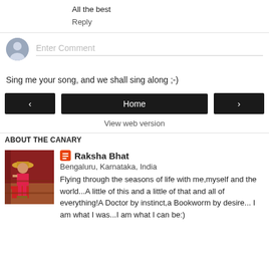All the best
Reply
Enter Comment
Sing me your song, and we shall sing along ;-)
‹
Home
›
View web version
ABOUT THE CANARY
Raksha Bhat
Bengaluru, Karnataka, India
Flying through the seasons of life with me,myself and the world...A little of this and a little of that and all of everything!A Doctor by instinct,a Bookworm by desire... I am what I was...I am what I can be:)